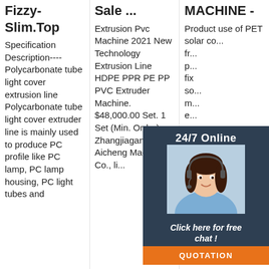Fizzy-Slim.Top
Specification Description----Polycarbonate tube light cover extrusion line Polycarbonate tube light cover extruder line is mainly used to produce PC profile like PC lamp, PC lamp housing, PC light tubes and
Sale ...
Extrusion Pvc Machine 2021 New Technology Extrusion Line HDPE PPR PE PP PVC Extruder Machine. $48,000.00 Set. 1 Set (Min. Order) Zhangjiagang Aicheng Machinery Co., li...
MACHINE -
Product use of PET solar co... fr... p... fix so... m... e... m... and extend service life. The PET solar composite frame is an
[Figure (photo): Customer service agent photo with 24/7 Online badge, Click here for free chat text, and QUOTATION button overlay]
[Figure (logo): TOP logo with orange text and dots in bottom right corner]